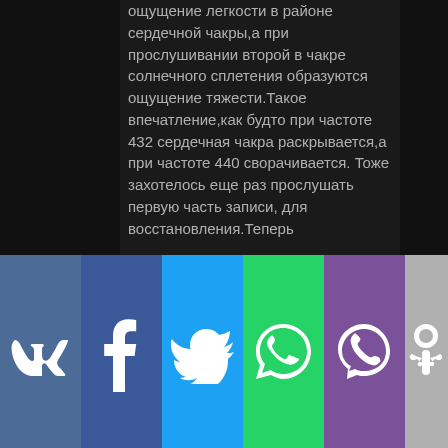ощущение легкости в районе сердечной чакры,а при прослушивании второй в чакре солнечного сплетения образуются ощущение тяжести.Такое впечатление,как будто при частоте 432 сердечная чакра раскрывается,а при частоте 440 сворачивается. Тоже захотелось еще раз прослушать первую часть записи, для восстановления.Теперь
[Figure (other): Social media share buttons: VK, Facebook, Twitter, WhatsApp, Viber, Odnoklassniki]